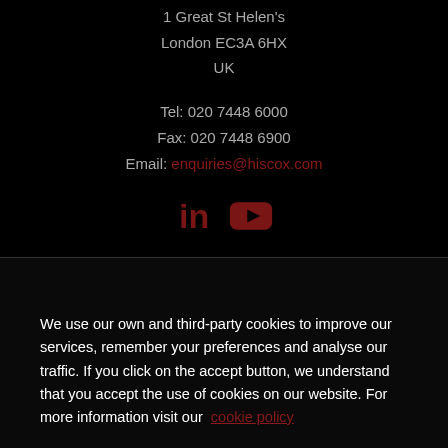1 Great St Helen's
London EC3A 6HX
UK
Tel: 020 7448 6000
Fax: 020 7448 6900
Email: enquiries@hiscox.com
[Figure (illustration): LinkedIn and YouTube social media icons in dark red]
We use our own and third-party cookies to improve our services, remember your preferences and analyse our traffic. If you click on the accept button, we understand that you accept the use of cookies on our website. For more information visit our cookie policy